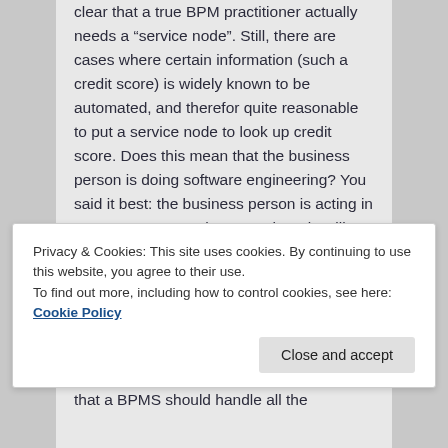clear that a true BPM practitioner actually needs a “service node”. Still, there are cases where certain information (such a credit score) is widely known to be automated, and therefor quite reasonable to put a service node to look up credit score. Does this mean that the business person is doing software engineering? You said it best: the business person is acting in an “IT aware” way, however there is still a wide gulf between occasionally placing a service node, and doing
Privacy & Cookies: This site uses cookies. By continuing to use this website, you agree to their use.
To find out more, including how to control cookies, see here: Cookie Policy
that a BPMS should handle all the